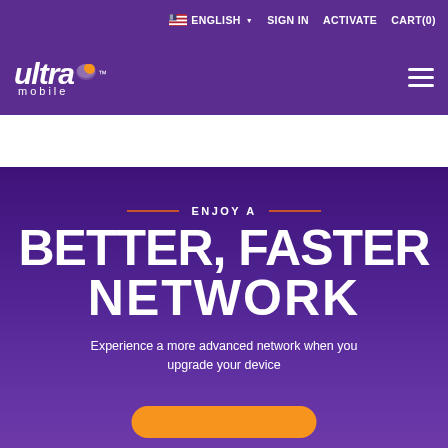ENGLISH  SIGN IN  ACTIVATE  CART(0)
[Figure (logo): Ultra Mobile logo with speech bubble icon and 'mobile' text below]
ENJOY A BETTER, FASTER NETWORK
Experience a more advanced network when you upgrade your device